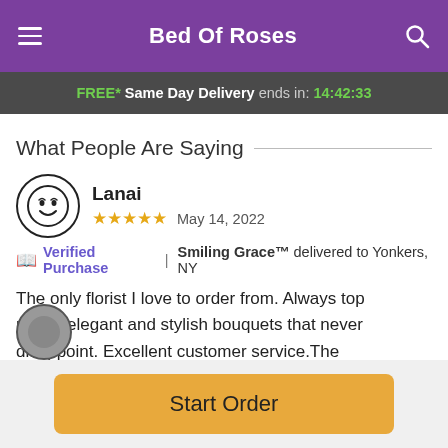Bed Of Roses
FREE* Same Day Delivery ends in: 14:42:33
What People Are Saying
Lanai
★★★★★  May 14, 2022
Verified Purchase | Smiling Grace™ delivered to Yonkers, NY
The only florist I love to order from. Always top notch, elegant and stylish bouquets that never disappoint. Excellent customer service.The Pecoraro Family
Start Order